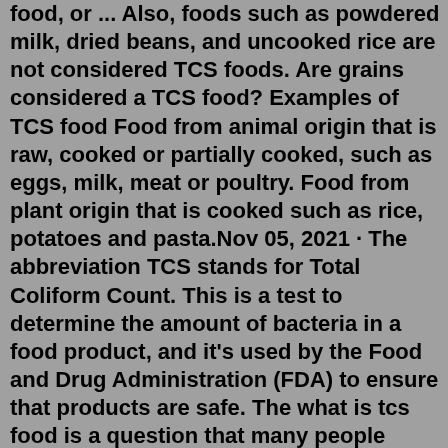food, or ... Also, foods such as powdered milk, dried beans, and uncooked rice are not considered TCS foods. Are grains considered a TCS food? Examples of TCS food Food from animal origin that is raw, cooked or partially cooked, such as eggs, milk, meat or poultry. Food from plant origin that is cooked such as rice, potatoes and pasta.Nov 05, 2021 · The abbreviation TCS stands for Total Coliform Count. This is a test to determine the amount of bacteria in a food product, and it's used by the Food and Drug Administration (FDA) to ensure that products are safe. The what is tcs food is a question that many people have. The acronym stands for Temperature Controlled Storage. May 11, 2022 · Ready to eat TCS food that is intended to be kept for more than 24 hours must be stored in controlled temperature storage and date-marked for a maximum of 7 days. Date marking has to be erasure-proof, visible, clear, and understandable for all employees. Two of the most important external factor of food safety may